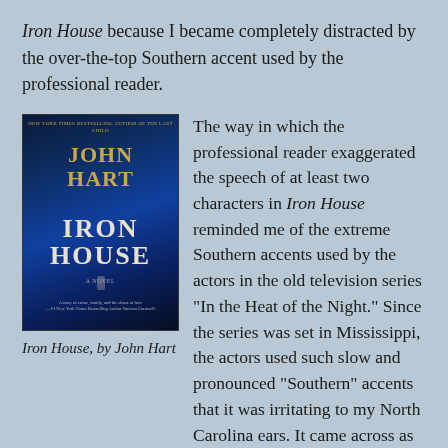Iron House because I became completely distracted by the over-the-top Southern accent used by the professional reader.
[Figure (photo): Book cover of Iron House by John Hart. Dark blue forest background with silhouetted figure, title in white and gold lettering.]
Iron House, by John Hart
The way in which the professional reader exaggerated the speech of at least two characters in Iron House reminded me of the extreme Southern accents used by the actors in the old television series “In the Heat of the Night.” Since the series was set in Mississippi, the actors used such slow and pronounced “Southern” accents that it was irritating to my North Carolina ears. It came across as
irritating to my North Carolina ears. It came across as